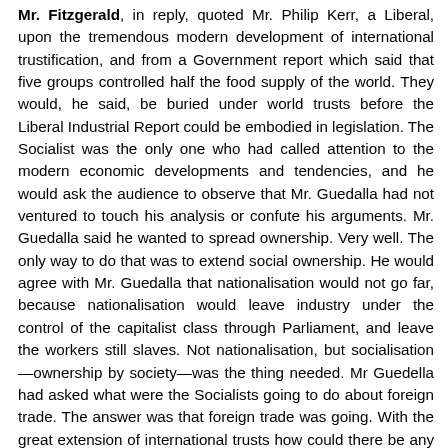Mr. Fitzgerald, in reply, quoted Mr. Philip Kerr, a Liberal, upon the tremendous modern development of international trustification, and from a Government report which said that five groups controlled half the food supply of the world. They would, he said, be buried under world trusts before the Liberal Industrial Report could be embodied in legislation. The Socialist was the only one who had called attention to the modern economic developments and tendencies, and he would ask the audience to observe that Mr. Guedalla had not ventured to touch his analysis or confute his arguments. Mr. Guedalla said he wanted to spread ownership. Very well. The only way to do that was to extend social ownership. He would agree with Mr. Guedalla that nationalisation would not go far, because nationalisation would leave industry under the control of the capitalist class through Parliament, and leave the workers still slaves. Not nationalisation, but socialisation—ownership by society—was the thing needed. Mr Guedella had asked what were the Socialists going to do about foreign trade. The answer was that foreign trade was going. With the great extension of international trusts how could there be any foreign trade?